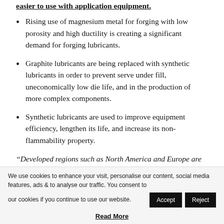Rising use of magnesium metal for forging with low porosity and high ductility is creating a significant demand for forging lubricants.
Graphite lubricants are being replaced with synthetic lubricants in order to prevent serve under fill, uneconomically low die life, and in the production of more complex components.
Synthetic lubricants are used to improve equipment efficiency, lengthen its life, and increase its non-flammability property.
“Developed regions such as North America and Europe are projected to witness significant demand for forging
We use cookies to enhance your visit, personalise our content, social media features, ads & to analyse our traffic. You consent to our cookies if you continue to use our website.
Read More